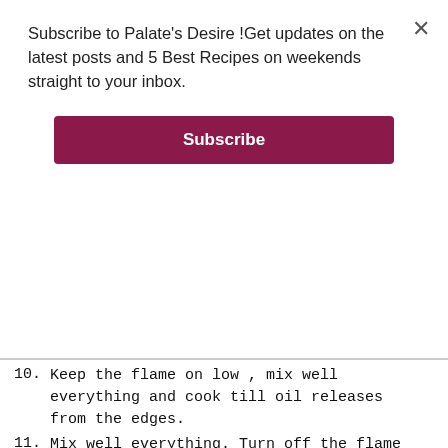Subscribe to Palate's Desire !Get updates on the latest posts and 5 Best Recipes on weekends straight to your inbox.
Subscribe
10. Keep the flame on low , mix well everything and cook till oil releases from the edges.
11. Mix well everything. Turn off the flame and set aside till use.
12. Once cool , you can even store it in a clean dry glass jar upto 1 week in
No compatible source was found for this media.
7 Shares
[Figure (photo): Advertisement banner: Just $2 can protect 1 acre of irreplaceable forest homes in the Amazon. How many acres are you willing to protect? PROTECT FORESTS NOW]
CAPSICUM BATH RECIPE